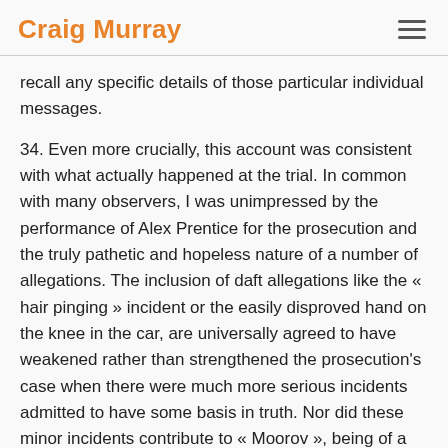Craig Murray
recall any specific details of those particular individual messages.
34. Even more crucially, this account was consistent with what actually happened at the trial. In common with many observers, I was unimpressed by the performance of Alex Prentice for the prosecution and the truly pathetic and hopeless nature of a number of allegations. The inclusion of daft allegations like the « hair pinging » incident or the easily disproved hand on the knee in the car, are universally agreed to have weakened rather than strengthened the prosecution's case when there were much more serious incidents admitted to have some basis in truth. Nor did these minor incidents contribute to « Moorov », being of a much lesser order than the